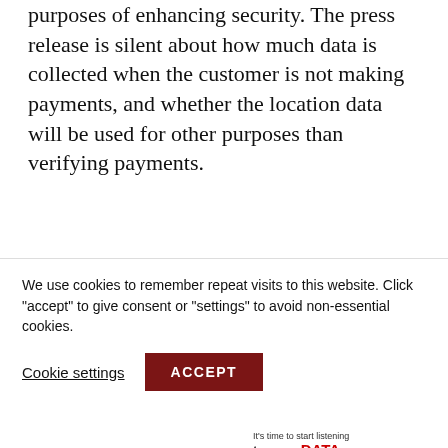purposes of enhancing security. The press release is silent about how much data is collected when the customer is not making payments, and whether the location data will be used for other purposes than verifying payments.
Share this:
[Figure (infographic): Social share buttons: Twitter (blue), LinkedIn (dark blue), Facebook (blue), Reddit (light grey/lavender), WhatsApp (green), Pinterest (red)]
[Figure (infographic): Advertisement banner: Latro and KNIME logos with text 'It's time to start listening to your DATA']
We use cookies to remember repeat visits to this website. Click "accept" to give consent or "settings" to avoid non-essential cookies.
Cookie settings   ACCEPT